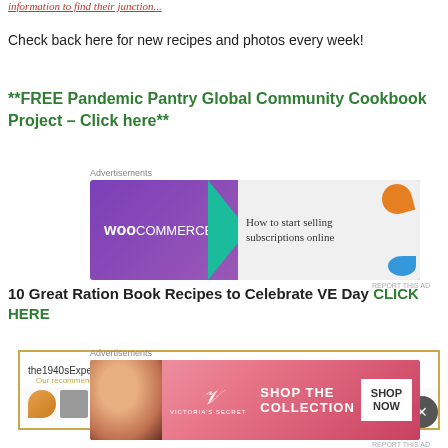information to find their junction...
Check back here for new recipes and photos every week!
**FREE Pandemic Pantry Global Community Cookbook Project – Click here**
[Figure (other): WooCommerce advertisement banner: purple background with WooCommerce logo on left, teal arrow shape, text 'How to start selling subscriptions online' on grey right side, orange and blue decorative shapes]
10 Great Ration Book Recipes to Celebrate VE Day CLICK HERE
[Figure (other): Amazon.co.uk advertisement for 'the1940sExperiment Shop @' with product thumbnails and golden border]
[Figure (other): Victoria's Secret advertisement with woman photo, VS logo, 'SHOP THE COLLECTION' text and 'SHOP NOW' button on pink/red background]